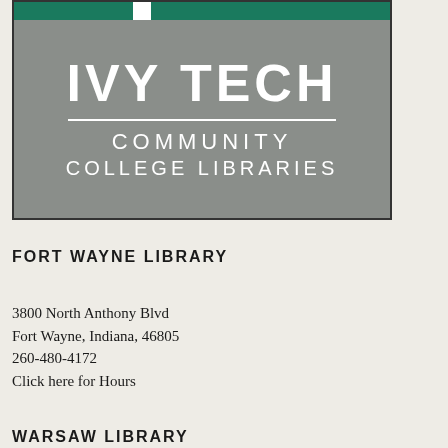[Figure (logo): Ivy Tech Community College Libraries logo — gray rectangle with teal top bar, white 'IVY TECH' large text, horizontal divider, 'COMMUNITY COLLEGE LIBRARIES' text below]
FORT WAYNE LIBRARY
3800 North Anthony Blvd
Fort Wayne, Indiana, 46805
260-480-4172
Click here for Hours
WARSAW LIBRARY